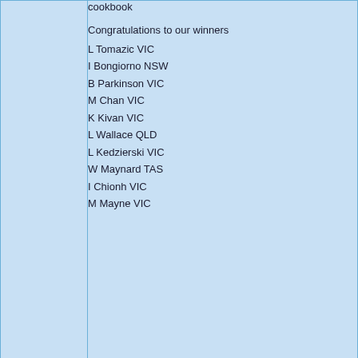cookbook
Congratulations to our winners
L Tomazic VIC
I Bongiorno NSW
B Parkinson VIC
M Chan VIC
K Kivan VIC
L Wallace QLD
L Kedzierski VIC
W Maynard TAS
I Chionh VIC
M Mayne VIC
posted 16-12-2021 @ 02:21 PM
www
wormy
SBS MOVIES
https://www.sbs.com.au/movies/article/2021/11/30/win-double-pass-see-worst-person-world-cinemas?dlb=[2021/12/06]%20%20del_mwk_bau&did=DM7323&cid=sbs:edm:acmyweek:relation:chancetowin:top:na
Win a double pass to see 'The Worst Person in the World' in cinemas
Congratulations to our winners: